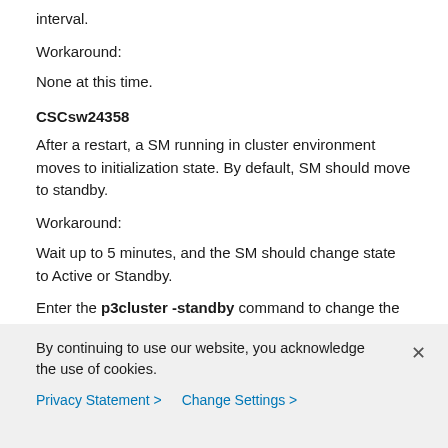interval.
Workaround:
None at this time.
CSCsw24358
After a restart, a SM running in cluster environment moves to initialization state. By default, SM should move to standby.
Workaround:
Wait up to 5 minutes, and the SM should change state to Active or Standby.
Enter the p3cluster -standby command to change the SM status to Standby.
By continuing to use our website, you acknowledge the use of cookies.
Privacy Statement > Change Settings >